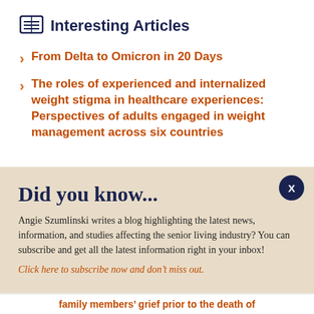Interesting Articles
From Delta to Omicron in 20 Days
The roles of experienced and internalized weight stigma in healthcare experiences: Perspectives of adults engaged in weight management across six countries
Did you know...
Angie Szumlinski writes a blog highlighting the latest news, information, and studies affecting the senior living industry? You can subscribe and get all the latest information right in your inbox!
Click here to subscribe now and don’t miss out.
family members’ grief prior to the death of